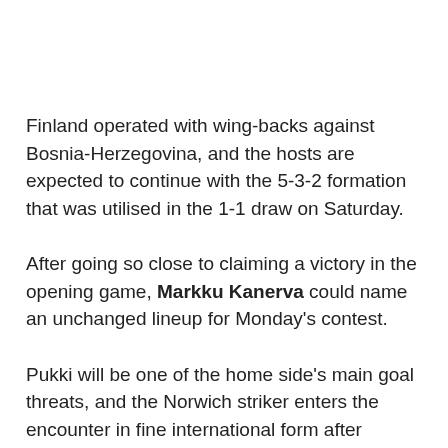Finland operated with wing-backs against Bosnia-Herzegovina, and the hosts are expected to continue with the 5-3-2 formation that was utilised in the 1-1 draw on Saturday.
After going so close to claiming a victory in the opening game, Markku Kanerva could name an unchanged lineup for Monday's contest.
Pukki will be one of the home side's main goal threats, and the Norwich striker enters the encounter in fine international form after scoring five goals across his last seven appearances for his country.